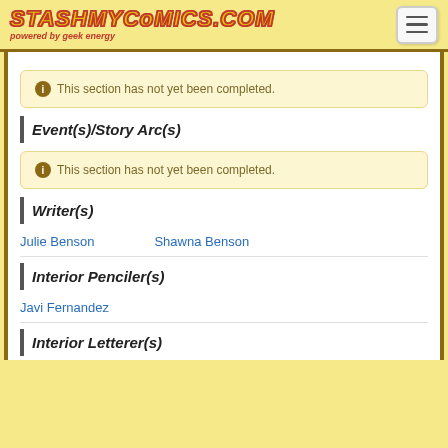StashMyComics.com — powered by geek energy
This section has not yet been completed.
Event(s)/Story Arc(s)
This section has not yet been completed.
Writer(s)
Julie Benson
Shawna Benson
Interior Penciler(s)
Javi Fernandez
Interior Letterer(s)